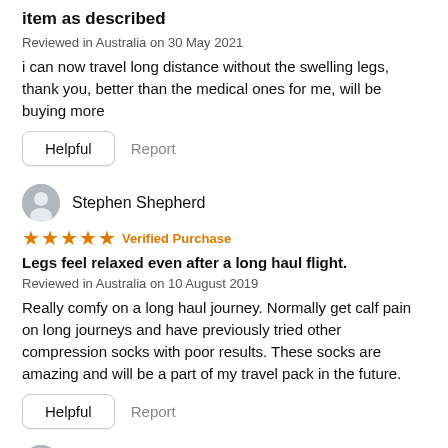item as described
Reviewed in Australia on 30 May 2021
i can now travel long distance without the swelling legs, thank you, better than the medical ones for me, will be buying more
Helpful   Report
Stephen Shepherd
★★★★★ Verified Purchase
Legs feel relaxed even after a long haul flight.
Reviewed in Australia on 10 August 2019
Really comfy on a long haul journey. Normally get calf pain on long journeys and have previously tried other compression socks with poor results. These socks are amazing and will be a part of my travel pack in the future.
Helpful   Report
Rob Prain